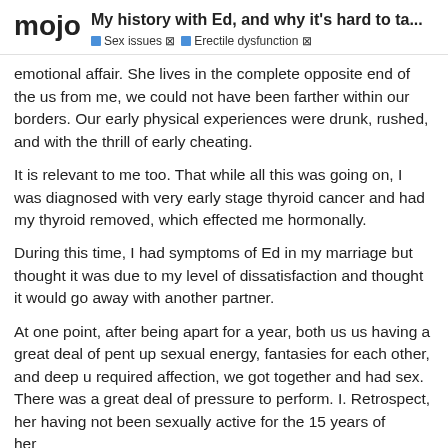mojo — My history with Ed, and why it's hard to ta... | Sex issues | Erectile dysfunction
emotional affair. She lives in the complete opposite end of the us from me, we could not have been farther within our borders. Our early physical experiences were drunk, rushed, and with the thrill of early cheating.
It is relevant to me too. That while all this was going on, I was diagnosed with very early stage thyroid cancer and had my thyroid removed, which effected me hormonally.
During this time, I had symptoms of Ed in my marriage but thought it was due to my level of dissatisfaction and thought it would go away with another partner.
At one point, after being apart for a year, both us us having a great deal of pent up sexual energy, fantasies for each other, and deep u required affection, we got together and had sex. There was a great deal of pressure to perform. I. Retrospect, her having not been sexually active for the 15 years of her used to masterbating. Even with the e
1 / 3